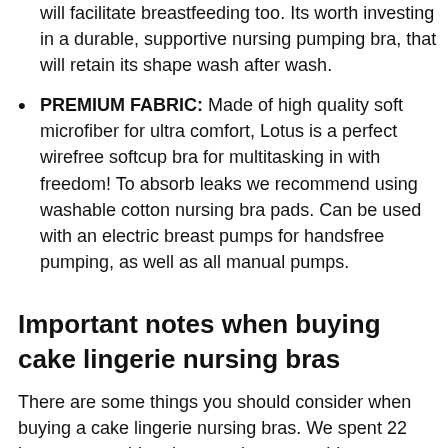will facilitate breastfeeding too. Its worth investing in a durable, supportive nursing pumping bra, that will retain its shape wash after wash.
PREMIUM FABRIC: Made of high quality soft microfiber for ultra comfort, Lotus is a perfect wirefree softcup bra for multitasking in with freedom! To absorb leaks we recommend using washable cotton nursing bra pads. Can be used with an electric breast pumps for handsfree pumping, as well as all manual pumps.
Important notes when buying cake lingerie nursing bras
There are some things you should consider when buying a cake lingerie nursing bras. We spent 22 hours researching the most important things you should consider when buying a cake lingerie nursing bras. So should we start with the list of things you should know?